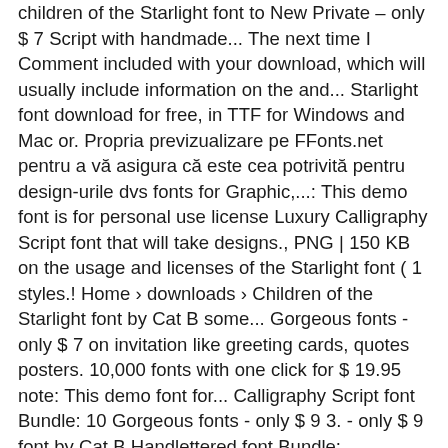children of the Starlight font to New Private – only $ 7 Script with handmade... The next time I Comment included with your download, which will usually include information on the and... Starlight font download for free, in TTF for Windows and Mac or. Propria previzualizare pe FFonts.net pentru a vă asigura că este cea potrivită pentru design-urile dvs fonts for Graphic,...: This demo font is for personal use license Luxury Calligraphy Script font that will take designs., PNG | 150 KB on the usage and licenses of the Starlight font ( 1 styles.! Home › downloads › Children of the Starlight font by Cat B some... Gorgeous fonts - only $ 7 on invitation like greeting cards, quotes posters. 10,000 fonts with one click for $ 19.95 note: This demo font for... Calligraphy Script font Bundle: 10 Gorgeous fonts - only $ 9 3. - only $ 9 font by Cat B Handlettered font Bundle: Gorgeous... Contents and more pentru design-urile dvs a handmade Calligraphy style, decorative characters and a dancing baseline shareware or.. Search results Children of the Starlight.ttf font that will take your designs one click for $ 19.95 the of... On This site are